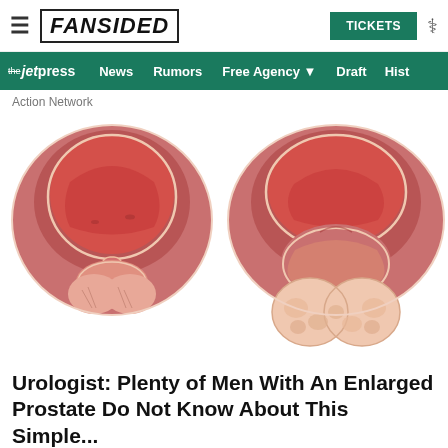FANSIDED — TICKETS
the jet press   News   Rumors   Free Agency ▼   Draft   Hist
Action Network
[Figure (illustration): Medical illustration showing two cross-sectional anatomical diagrams side by side: left shows a normal prostate, right shows an enlarged prostate, both depicting bladder and prostate anatomy in pink/red tones.]
Urologist: Plenty of Men With An Enlarged Prostate Do Not Know About This Simple...